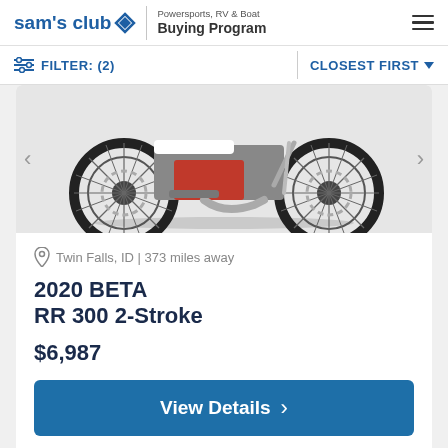sam's club | Powersports, RV & Boat Buying Program
FILTER: (2) | CLOSEST FIRST
[Figure (photo): Partial view of a 2020 Beta RR 300 2-Stroke dirt bike showing front and rear wheels on white background]
Twin Falls, ID | 373 miles away
2020 BETA RR 300 2-Stroke
$6,987
View Details